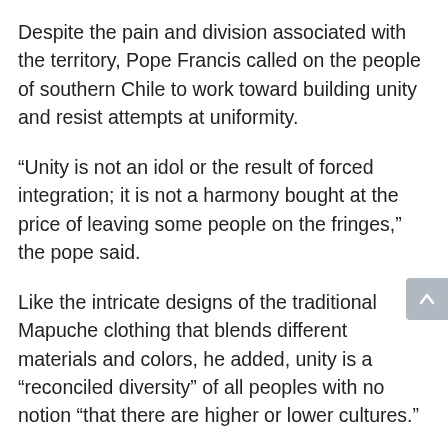Despite the pain and division associated with the territory, Pope Francis called on the people of southern Chile to work toward building unity and resist attempts at uniformity.
“Unity is not an idol or the result of forced integration; it is not a harmony bought at the price of leaving some people on the fringes,” the pope said.
Like the intricate designs of the traditional Mapuche clothing that blends different materials and colors, he added, unity is a “reconciled diversity” of all peoples with no notion “that there are higher or lower cultures.”
Thousands of people lined the streets of Temuco, welcoming the pope and waving yellow and white flags. However, a small group of